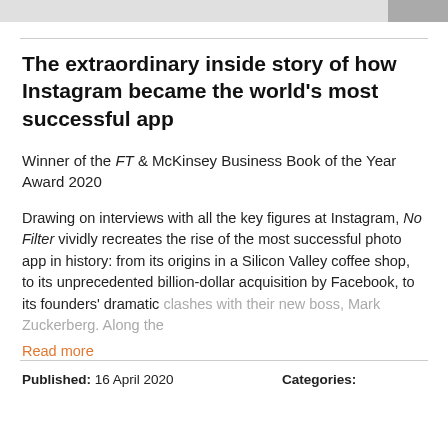The extraordinary inside story of how Instagram became the world's most successful app
Winner of the FT & McKinsey Business Book of the Year Award 2020
Drawing on interviews with all the key figures at Instagram, No Filter vividly recreates the rise of the most successful photo app in history: from its origins in a Silicon Valley coffee shop, to its unprecedented billion-dollar acquisition by Facebook, to its founders' dramatic clashes with their new boss, Mark Zuckerberg. Along the
Read more
Published: 16 April 2020
Categories: